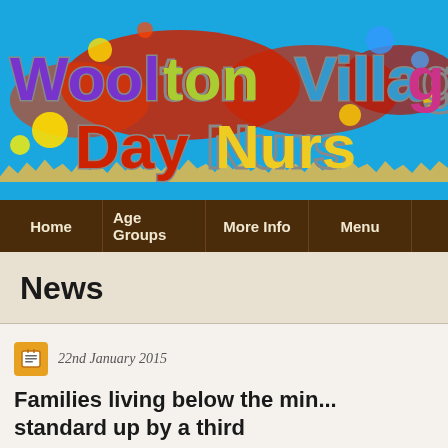[Figure (logo): Woolton Village Day Nursery logo with colorful 3D block letters on a bright blue background with paint splatter effects and grass silhouette at bottom]
[Figure (screenshot): Navigation bar with brown background showing menu items: Home, Age Groups, More Info, Menu]
News
22nd January 2015
Families living below the minimum standard up by a third
[Figure (photo): Partial photo showing what appears to be a window or interior scene, cropped at bottom of page]